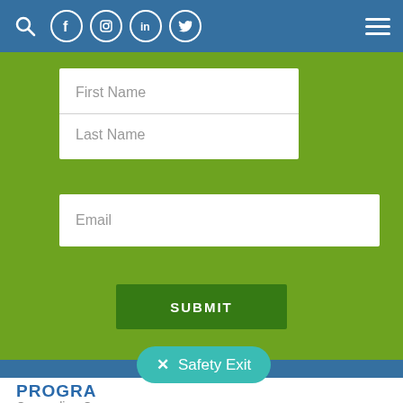Navigation bar with search, Facebook, Instagram, LinkedIn, Twitter icons, and hamburger menu
[Figure (screenshot): Website form on green textured background with First Name, Last Name, and Email input fields, and a dark green SUBMIT button]
First Name
Last Name
Email
SUBMIT
[Figure (other): Safety Exit button with teal pill shape, X icon, and text 'Safety Exit']
PROGRAMS
Counseling Care